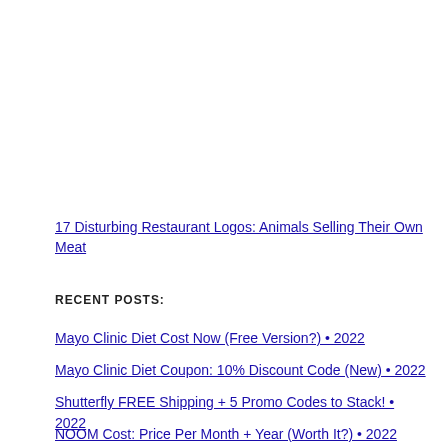17 Disturbing Restaurant Logos: Animals Selling Their Own Meat
RECENT POSTS:
Mayo Clinic Diet Cost Now (Free Version?) • 2022
Mayo Clinic Diet Coupon: 10% Discount Code (New) • 2022
Shutterfly FREE Shipping + 5 Promo Codes to Stack! • 2022
NOOM Cost: Price Per Month + Year (Worth It?) • 2022